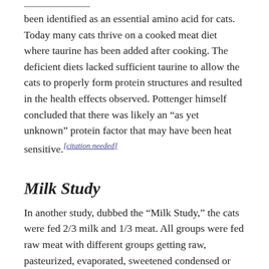been identified as an essential amino acid for cats. Today many cats thrive on a cooked meat diet where taurine has been added after cooking. The deficient diets lacked sufficient taurine to allow the cats to properly form protein structures and resulted in the health effects observed. Pottenger himself concluded that there was likely an “as yet unknown” protein factor that may have been heat sensitive.[citation needed]
Milk Study
In another study, dubbed the “Milk Study,” the cats were fed 2/3 milk and 1/3 meat. All groups were fed raw meat with different groups getting raw, pasteurized, evaporated, sweetened condensed or metabolized vitamin D milk. The